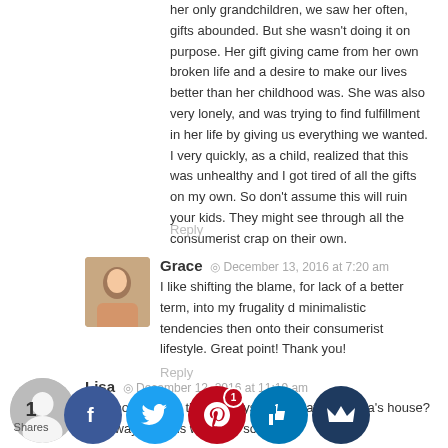her only grandchildren, we saw her often, gifts abounded. But she wasn't doing it on purpose. Her gift giving came from her own broken life and a desire to make our lives better than her childhood was. She was also very lonely, and was trying to find fulfillment in her life by giving us everything we wanted. I very quickly, as a child, realized that this was unhealthy and I got tired of all the gifts on my own. So don't assume this will ruin your kids. They might see through all the consumerist crap on their own.
Reply
Grace · December 13, 2016 at 7:20 am
I like shifting the blame, for lack of a better term, into my frugality d minimalistic tendencies then onto their consumerist lifestyle. Great point! Thank you!
Reply
Lisa · December 12, 2016 at 11:19 am
Why not suggest that the toys be kept at Grandma's house? That way the kids will have something to look forward to during their grandparents' house. You don't to deal with toys after, and perhaps your in-laws will see it oh enough t...